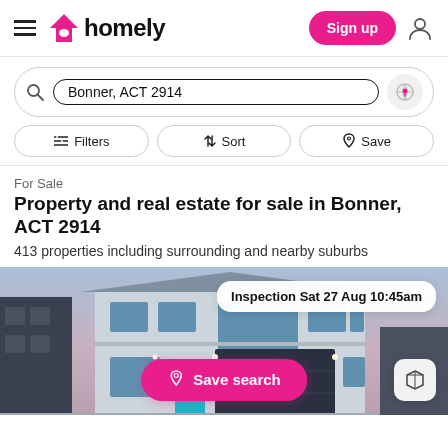homely — Sign up
Bonner, ACT 2914
Filters  Sort  Save
For Sale
Property and real estate for sale in Bonner, ACT 2914
413 properties including surrounding and nearby suburbs
[Figure (photo): Exterior photo of a modern two-storey house with grey facade and dark garage door, at dusk/evening light. Overlaid with 'Inspection Sat 27 Aug 10:45am' badge and a 3D view icon. A pink 'Save search' button is visible at bottom center.]